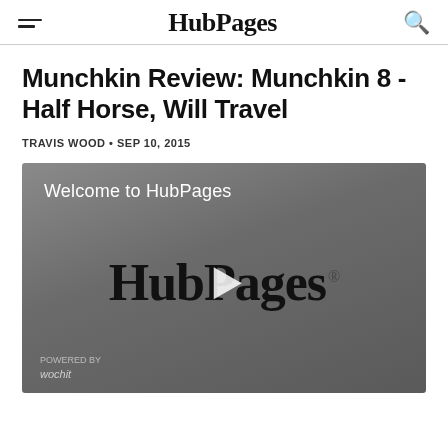HubPages
Munchkin Review: Munchkin 8 - Half Horse, Will Travel
TRAVIS WOOD • SEP 10, 2015
[Figure (screenshot): Video player showing HubPages welcome screen with HubPages logo and play button. 'Welcome to HubPages' text at top left. Wochit badge at bottom left.]